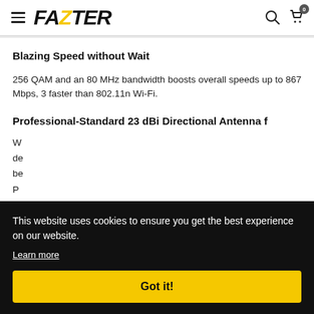FAZTER — navigation header with hamburger menu, logo, search icon, cart icon with badge 0
Blazing Speed without Wait
256 QAM and an 80 MHz bandwidth boosts overall speeds up to 867 Mbps, 3 faster than 802.11n Wi-Fi.
Professional-Standard 23 dBi Directional Antenna for...
W... de... be... P... de...
This website uses cookies to ensure you get the best experience on our website. Learn more
Got it!